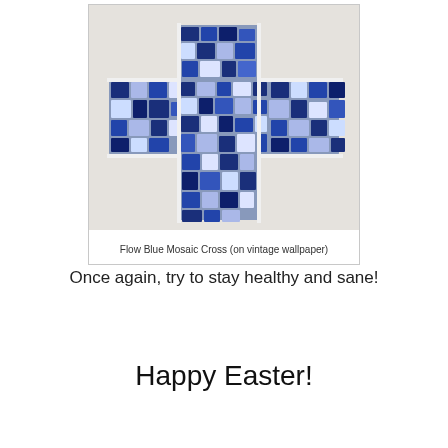[Figure (photo): A mosaic cross made of blue and white broken china/pottery pieces arranged in a mosaic pattern, photographed on a vintage white textured wallpaper background.]
Flow Blue Mosaic Cross (on vintage wallpaper)
Once again, try to stay healthy and sane!
Happy Easter!